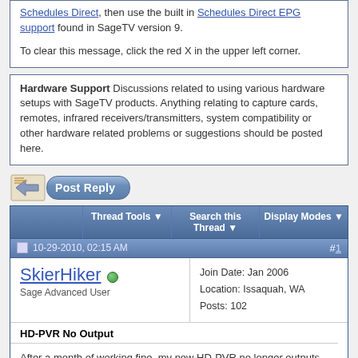Schedules Direct, then use the built in Schedules Direct EPG support found in SageTV version 9. To clear this message, click the red X in the upper left corner.
Hardware Support Discussions related to using various hardware setups with SageTV products. Anything relating to capture cards, remotes, infrared receivers/transmitters, system compatibility or other hardware related problems or suggestions should be posted here.
[Figure (screenshot): Post Reply button with icon]
Thread Tools | Search this Thread | Display Modes
10-29-2010, 02:15 AM  #1
SkierHiker (online) Sage Advanced User | Join Date: Jan 2006 Location: Issaquah, WA Posts: 102
HD-PVR No Output
After a month of working fine, my new HD-PVR no longer outputs any video or audio. For the last week or so, I was getting lots of Failure messages. I also noticed that my videos had a green cast to them. I checked the cables and found the Red video cable from the STB loose and maybe disconnected. I plugged it in, went to check it out with TME and nothing. Brought up Sage and it said No Video (or something like that). I tried composite video and nothing. I